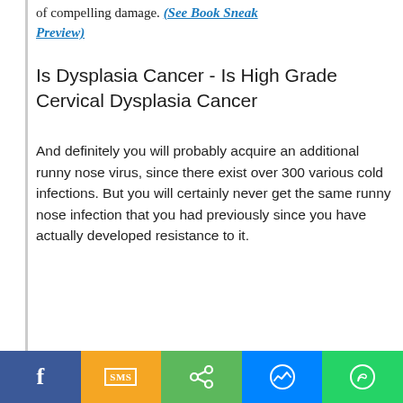of compelling damage. (See Book Sneak Preview)
Is Dysplasia Cancer - Is High Grade Cervical Dysplasia Cancer
And definitely you will probably acquire an additional runny nose virus, since there exist over 300 various cold infections. But you will certainly never get the same runny nose infection that you had previously since you have actually developed resistance to it.